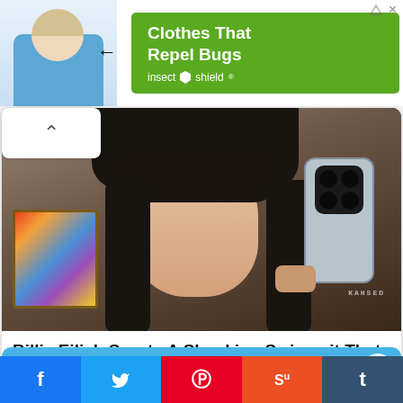[Figure (photo): Advertisement banner: woman in blue scrubs on white background with arrow pointing to green box. Green box shows text 'Clothes That Repel Bugs' and 'insect shield' brand logo with shield icon.]
[Figure (photo): Billie Eilish taking a mirror selfie with iPhone. She has black hair with bangs, green eyes, wearing layered necklaces and a plaid shirt. Background shows colorful artwork and a shop window.]
Billie Eilish Sports A Shocking Swimsuit That Stuns Fans
Traitslab
[Figure (illustration): Partial view of second article card with blue gradient background and pink/peach illustrated shape at bottom center.]
[Figure (infographic): Social media share bar with five buttons: Facebook (f), Twitter (bird), Pinterest (P), StumbleUpon (Su), Tumblr (t).]